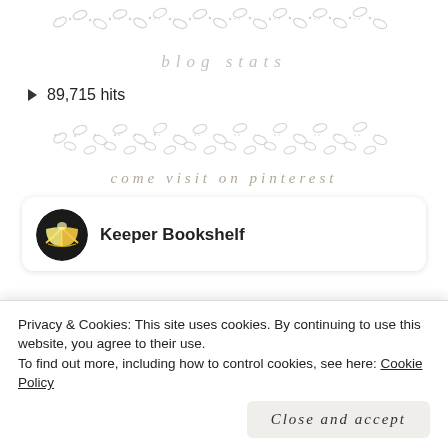[Figure (illustration): Decorative floral/leaf vine divider in light gray]
blog stats
89,715 hits
[Figure (illustration): Decorative floral/leaf vine divider in light gray]
come visit on pinterest
[Figure (other): Pinterest card showing Keeper Bookshelf with book logo icon]
Privacy & Cookies: This site uses cookies. By continuing to use this website, you agree to their use.
To find out more, including how to control cookies, see here: Cookie Policy
Close and accept